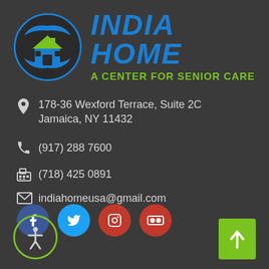[Figure (logo): India Home - A Center for Senior Care logo with circular blue hands/house icon and blue italic 'INDIA HOME' text with green 'A CENTER FOR SENIOR CARE' tagline]
178-36 Wexford Terrace, Suite 2C
Jamaica, NY 11432
(917) 288 7600
(718) 425 0891
indiahomeusa@gmail.com
[Figure (illustration): Social media icons row: Facebook (blue circle), Twitter (light blue circle), Instagram (red circle), Flickr (red circle)]
[Figure (illustration): Accessibility icon - person in circle with green border]
[Figure (illustration): Scroll to top button - green rectangle with white upward arrow]